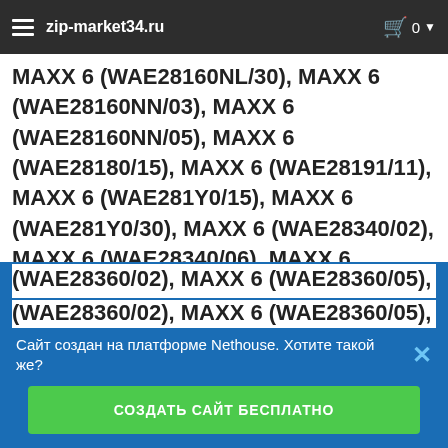zip-market34.ru
MAXX 6 (WAE28160NL/30), MAXX 6 (WAE28160NN/03), MAXX 6 (WAE28160NN/05), MAXX 6 (WAE28180/15), MAXX 6 (WAE28191/11), MAXX 6 (WAE281Y0/15), MAXX 6 (WAE281Y0/30), MAXX 6 (WAE28340/02), MAXX 6 (WAE28340/06), MAXX 6 (WAE28340/19), MAXX 6 (WAE2834A/02), MAXX 6 (WAE2834A/06), MAXX 6 (WAE2834A/18), MAXX 6 (WAE2834A/19), MAXX 6 (WAE2834A/22), MAXX 6 (WAE28360NL/01), MAXX 6 (WAE28360NL/02), MAXX 6 (WAE28360NL/06), MAXX 6 (WAE28360NL/19), MAXX 6 (WAE28360/02), MAXX 6 (WAE28360/05), MAXX 6
Сайт создан на платформе Nethouse. Хотите такой же?
СОЗДАТЬ САЙТ БЕСПЛАТНО